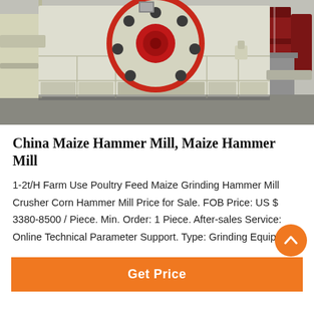[Figure (photo): Industrial maize hammer mill / crusher machine with large red-rimmed circular rotor housing, cream/yellow painted steel body, photographed in a factory or warehouse setting with red barrels in background.]
China Maize Hammer Mill, Maize Hammer Mill
1-2t/H Farm Use Poultry Feed Maize Grinding Hammer Mill Crusher Corn Hammer Mill Price for Sale. FOB Price: US $ 3380-8500 / Piece. Min. Order: 1 Piece. After-sales Service: Online Technical Parameter Support. Type: Grinding Equipment
Get Price